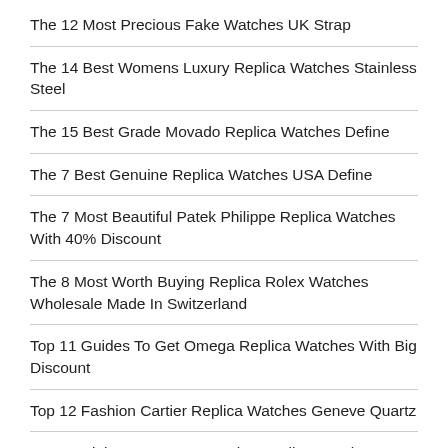The 12 Most Precious Fake Watches UK Strap
The 14 Best Womens Luxury Replica Watches Stainless Steel
The 15 Best Grade Movado Replica Watches Define
The 7 Best Genuine Replica Watches USA Define
The 7 Most Beautiful Patek Philippe Replica Watches With 40% Discount
The 8 Most Worth Buying Replica Rolex Watches Wholesale Made In Switzerland
Top 11 Guides To Get Omega Replica Watches With Big Discount
Top 12 Fashion Cartier Replica Watches Geneve Quartz
Top 15 Right Ways To Buy Swiss Replica Watches 60%